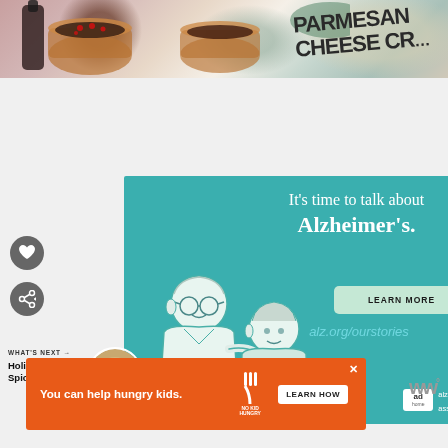[Figure (photo): Top banner photo showing holiday drinks with pomegranate seeds in copper mugs and Parmesan Cheese Crisps packaging]
[Figure (infographic): Alzheimer's Association advertisement on teal background with illustrated elderly man and caregiver. Text reads: It's time to talk about Alzheimer's. LEARN MORE button. alz.org/ourstories. Ad badge and Alzheimer's association logo.]
[Figure (infographic): No Kid Hungry advertisement on orange background. Text: You can help hungry kids. No Kid Hungry fork logo. LEARN HOW button.]
WHAT'S NEXT → Holiday Spiced...
[Figure (photo): Thumbnail image of Holiday Spiced dish]